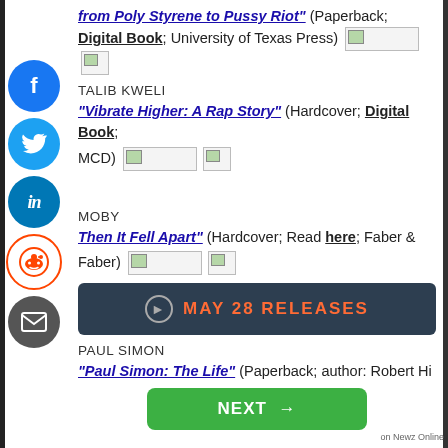from Poly Styrene to Pussy Riot" (Paperback; Digital Book; University of Texas Press)
TALIB KWELI
"Vibrate Higher: A Rap Story" (Hardcover; Digital Book; MCD)
MOBY
"Then It Fell Apart" (Hardcover; Read here; Faber & Faber)
MAY 28 RELEASES
PAUL SIMON
"Paul Simon: The Life" (Paperback; author: Robert Hi